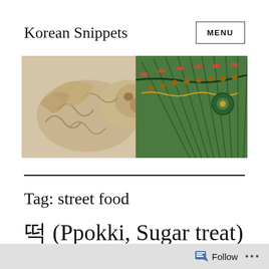Korean Snippets
[Figure (photo): Header image showing a carved stone lion sculpture on the left and colorful Korean traditional architecture (dancheong painted eaves) in green, red, and gold on the right.]
Tag: street food
떡 (Ppokki, Sugar treat)
Follow